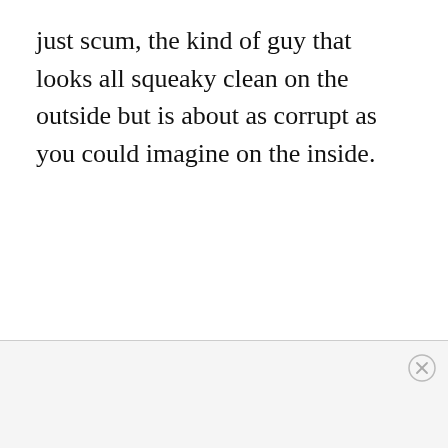just scum, the kind of guy that looks all squeaky clean on the outside but is about as corrupt as you could imagine on the inside.